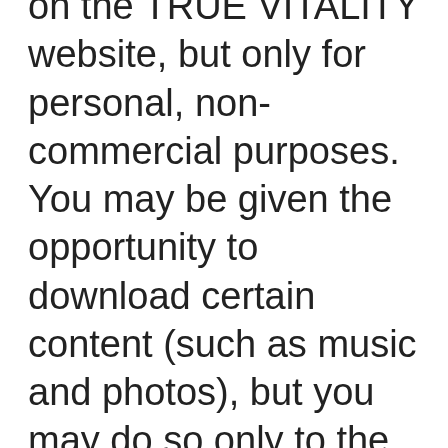on the TRUE VITALITY website, but only for personal, non-commercial purposes. You may be given the opportunity to download certain content (such as music and photos), but you may do so only to the extent as authorized for that particular content and only for your personal use. You may not use the content in a manner that exceeds the rights granted for your use of the content, which includes